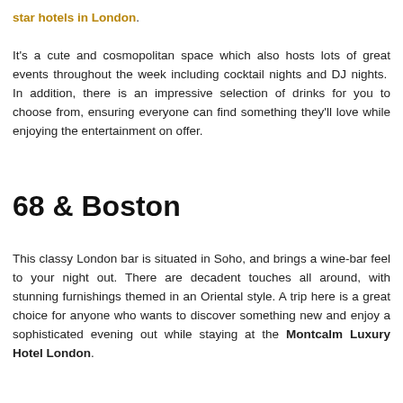star hotels in London.
It's a cute and cosmopolitan space which also hosts lots of great events throughout the week including cocktail nights and DJ nights. In addition, there is an impressive selection of drinks for you to choose from, ensuring everyone can find something they'll love while enjoying the entertainment on offer.
68 & Boston
This classy London bar is situated in Soho, and brings a wine-bar feel to your night out. There are decadent touches all around, with stunning furnishings themed in an Oriental style. A trip here is a great choice for anyone who wants to discover something new and enjoy a sophisticated evening out while staying at the Montcalm Luxury Hotel London.